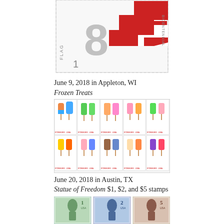[Figure (illustration): US postage stamp showing flag bicentennial design with red and white stripes and large '8' numeral, with perforated edges]
June 9, 2018 in Appleton, WI
Frozen Treats
[Figure (illustration): Sheet of 10 Frozen Treats US postage stamps showing colorful popsicles and ice cream bars arranged in 2 rows of 5]
June 20, 2018 in Austin, TX
Statue of Freedom $1, $2, and $5 stamps
[Figure (illustration): Three US postage stamps showing the Statue of Freedom: $1 in green, $2 in blue, $5 in brown/red]